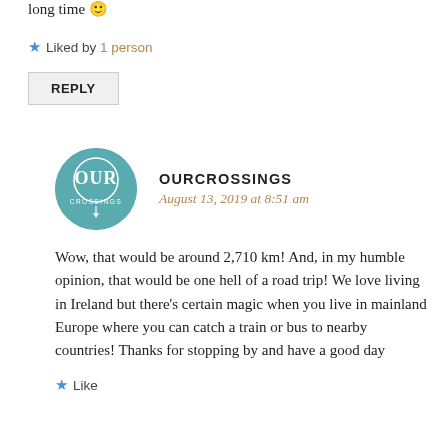long time 🙂
★ Liked by 1 person
REPLY
OURCROSSINGS
August 13, 2019 at 8:51 am
Wow, that would be around 2,710 km! And, in my humble opinion, that would be one hell of a road trip! We love living in Ireland but there's certain magic when you live in mainland Europe where you can catch a train or bus to nearby countries! Thanks for stopping by and have a good day
★ Like